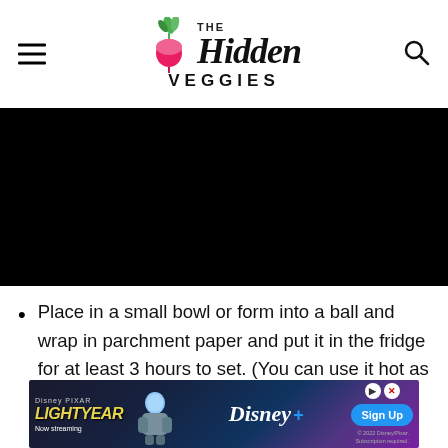The Hidden Veggies
[Figure (photo): Black/dark image area, content not visible]
Place in a small bowl or form into a ball and wrap in parchment paper and put it in the fridge for at least 3 hours to set. (You can use it hot as a cheese spread if you wish.)
[Figure (infographic): Disney Pixar Lightyear advertisement banner - Now streaming, Sign Up button, Disney+ logo]